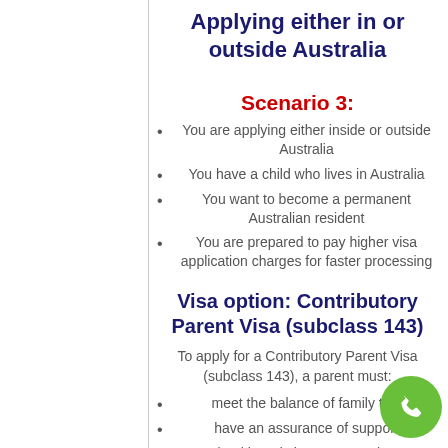Applying either in or outside Australia
Scenario 3:
You are applying either inside or outside Australia
You have a child who lives in Australia
You want to become a permanent Australian resident
You are prepared to pay higher visa application charges for faster processing
Visa option: Contributory Parent Visa (subclass 143)
To apply for a Contributory Parent Visa (subclass 143), a parent must:
meet the balance of family test
have an assurance of support
meet health and character requirements